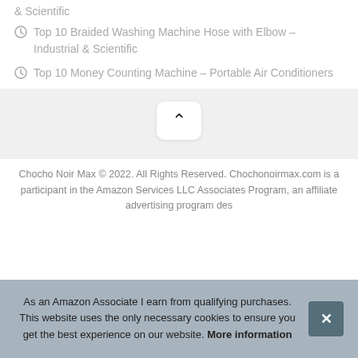& Scientific
Top 10 Braided Washing Machine Hose with Elbow – Industrial & Scientific
Top 10 Money Counting Machine – Portable Air Conditioners
Chocho Noir Max © 2022. All Rights Reserved. Chochonoirmax.com is a participant in the Amazon Services LLC Associates Program, an affiliate advertising program des…
As an Amazon Associate I earn from qualifying purchases. This website uses the only necessary cookies to ensure you get the best experience on our website. More information